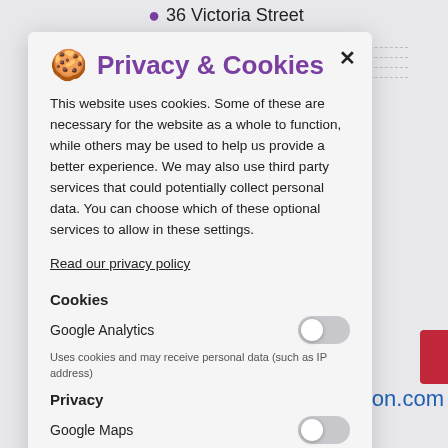36 Victoria Street
[Figure (screenshot): Privacy & Cookies modal dialog overlay on a website. Contains cookie icon, title 'Privacy & Cookies', close button, body text about cookies and privacy, a link to privacy policy, toggle switches for Google Analytics and Google Maps.]
Privacy & Cookies
This website uses cookies. Some of these are necessary for the website as a whole to function, while others may be used to help us provide a better experience. We may also use third party services that could potentially collect personal data. You can choose which of these optional services to allow in these settings.
Read our privacy policy
Cookies
Google Analytics
Uses cookies and may receive personal data (such as IP address)
Privacy
Google Maps